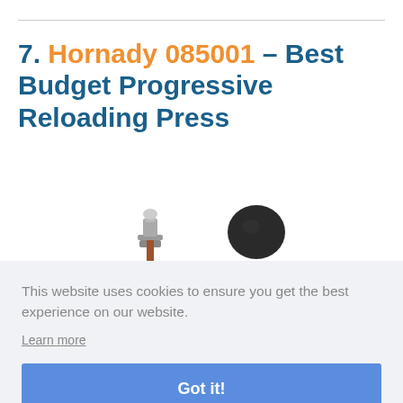7. Hornady 085001 – Best Budget Progressive Reloading Press
[Figure (photo): Partial photo of reloading press equipment (top portion visible), showing metal components including a knob/cap and black round head]
This website uses cookies to ensure you get the best experience on our website.
Learn more
Got it!